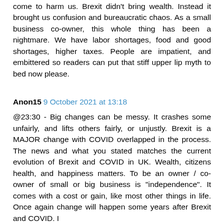come to harm us. Brexit didn't bring wealth. Instead it brought us confusion and bureaucratic chaos. As a small business co-owner, this whole thing has been a nightmare. We have labor shortages, food and good shortages, higher taxes. People are impatient, and embittered so readers can put that stiff upper lip myth to bed now please.
Anon15  9 October 2021 at 13:18
@23:30 - Big changes can be messy. It crashes some unfairly, and lifts others fairly, or unjustly. Brexit is a MAJOR change with COVID overlapped in the process. The news and what you stated matches the current evolution of Brexit and COVID in UK. Wealth, citizens health, and happiness matters. To be an owner / co-owner of small or big business is "independence". It comes with a cost or gain, like most other things in life. Once again change will happen some years after Brexit and COVID. I